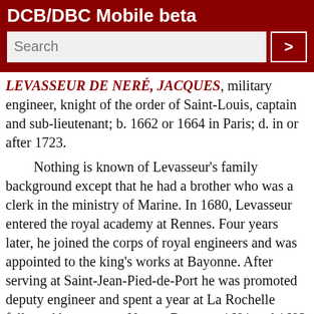DCB/DBC Mobile beta
LEVASSEUR DE NERÉ, JACQUES, military engineer, knight of the order of Saint-Louis, captain and sub-lieutenant; b. 1662 or 1664 in Paris; d. in or after 1723.
Nothing is known of Levasseur's family background except that he had a brother who was a clerk in the ministry of Marine. In 1680, Levasseur entered the royal academy at Rennes. Four years later, he joined the corps of royal engineers and was appointed to the king's works at Bayonne. After serving at Saint-Jean-Pied-de-Port he was promoted deputy engineer and spent a year at La Rochelle followed by a year at Nancy. Between 1691 and 1693 he served in several sieges under Vauban. On 1 March 1693 he was appointed to replace Robert de Villeneuve* as royal engineer of New France. Prior to this date, he had married Marie-Françoise Chavenault, and the poverty occasioned by his large family was a